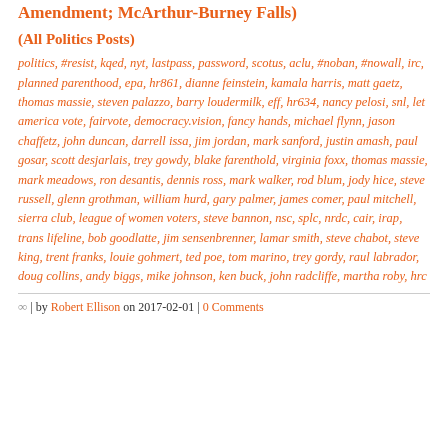Amendment; McArthur-Burney Falls)
(All Politics Posts)
politics, #resist, kqed, nyt, lastpass, password, scotus, aclu, #noban, #nowall, irc, planned parenthood, epa, hr861, dianne feinstein, kamala harris, matt gaetz, thomas massie, steven palazzo, barry loudermilk, eff, hr634, nancy pelosi, snl, let america vote, fairvote, democracy.vision, fancy hands, michael flynn, jason chaffetz, john duncan, darrell issa, jim jordan, mark sanford, justin amash, paul gosar, scott desjarlais, trey gowdy, blake farenthold, virginia foxx, thomas massie, mark meadows, ron desantis, dennis ross, mark walker, rod blum, jody hice, steve russell, glenn grothman, william hurd, gary palmer, james comer, paul mitchell, sierra club, league of women voters, steve bannon, nsc, splc, nrdc, cair, irap, trans lifeline, bob goodlatte, jim sensenbrenner, lamar smith, steve chabot, steve king, trent franks, louie gohmert, ted poe, tom marino, trey gordy, raul labrador, doug collins, andy biggs, mike johnson, ken buck, john radcliffe, martha roby, hrc
∞ | by Robert Ellison on 2017-02-01 | 0 Comments